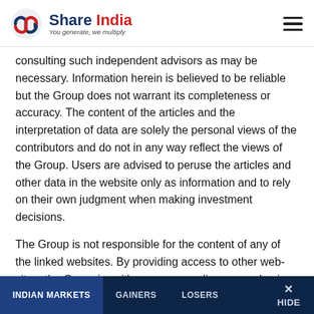Share India — You generate, we multiply
consulting such independent advisors as may be necessary. Information herein is believed to be reliable but the Group does not warrant its completeness or accuracy. The content of the articles and the interpretation of data are solely the personal views of the contributors and do not in any way reflect the views of the Group. Users are advised to peruse the articles and other data in the website only as information and to rely on their own judgment when making investment decisions.
The Group is not responsible for the content of any of the linked websites. By providing access to other web-sites, the Group is neither recommending nor endorsing the content available in the linked websites.
INDIAN MARKETS   GAINERS   LOSERS   × HIDE